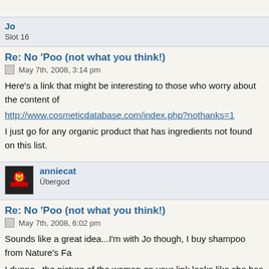Jo
Slot 16
Re: No 'Poo (not what you think!)
May 7th, 2008, 3:14 pm
Here's a link that might be interesting to those who worry about the content of
http://www.cosmeticdatabase.com/index.php?nothanks=1
I just go for any organic product that has ingredients not found on this list.
anniecat
Übergod
Re: No 'Poo (not what you think!)
May 7th, 2008, 6:02 pm
Sounds like a great idea...I'm with Jo though, I buy shampoo from Nature's Fa
I dunno...the picture of the woman on your link looks like she has really greas
[Figure (other): OMG sign/image with text OMG in bold inside a bordered box]